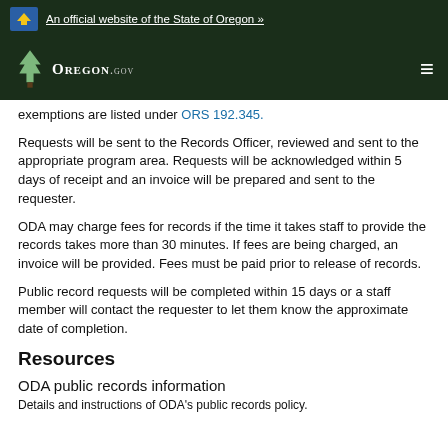An official website of the State of Oregon »
[Figure (logo): Oregon.gov logo with pine tree icon on dark green navigation bar]
exemptions are listed under ORS 192.345.
Requests will be sent to the Records Officer, reviewed and sent to the appropriate program area. Requests will be acknowledged within 5 days of receipt and an invoice will be prepared and sent to the requester.
ODA may charge fees for records if the time it takes staff to provide the records takes more than 30 minutes. If fees are being charged, an invoice will be provided. Fees must be paid prior to release of records.
Public record requests will be completed within 15 days or a staff member will contact the requester to let them know the approximate date of completion.
Resources
ODA public records information
Details and instructions of ODA's public records policy.